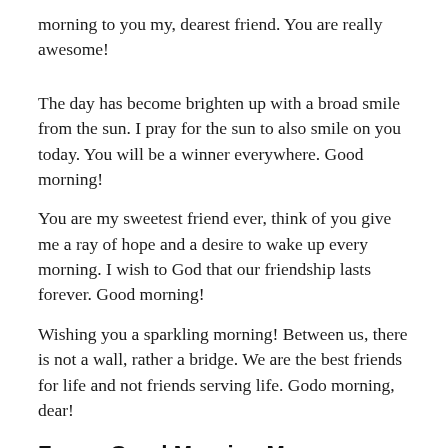morning to you my, dearest friend. You are really awesome!
The day has become brighten up with a broad smile from the sun. I pray for the sun to also smile on you today. You will be a winner everywhere. Good morning!
You are my sweetest friend ever, think of you give me a ray of hope and a desire to wake up every morning. I wish to God that our friendship lasts forever. Good morning!
Wishing you a sparkling morning! Between us, there is not a wall, rather a bridge. We are the best friends for life and not friends serving life. Godo morning, dear!
Funny Good Morning Messages For Friends
Dear friend, I know you well it is difficult to wake up